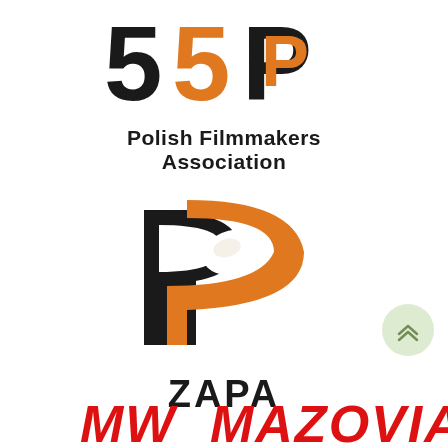[Figure (logo): SSP Polish Filmmakers Association logo - black '55' and orange 'P' lettermark with overlapping black 'P', text 'Polish Filmmakers Association' below]
[Figure (logo): ZAPA logo - stylized double P lettermark in black and orange with 'ZAPA' text below]
[Figure (logo): Scroll-to-top button - light green circle with chevron arrows]
[Figure (logo): MW MAZOVIA logo in red italic bold text, partially visible at bottom]